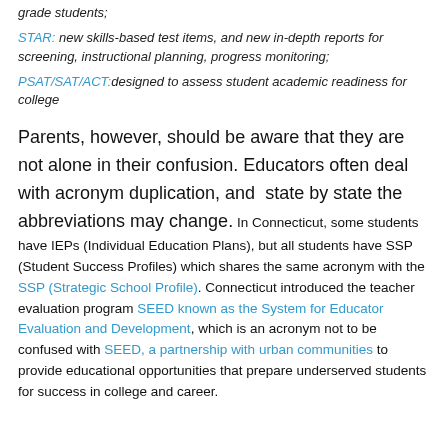grade students;
STAR: new skills-based test items, and new in-depth reports for screening, instructional planning, progress monitoring;
PSAT/SAT/ACT:designed to assess student academic readiness for college
Parents, however, should be aware that they are not alone in their confusion. Educators often deal with acronym duplication, and state by state the abbreviations may change. In Connecticut, some students have IEPs (Individual Education Plans), but all students have SSP (Student Success Profiles) which shares the same acronym with the SSP (Strategic School Profile). Connecticut introduced the teacher evaluation program SEED known as the System for Educator Evaluation and Development, which is an acronym not to be confused with SEED, a partnership with urban communities to provide educational opportunities that prepare underserved students for success in college and career.